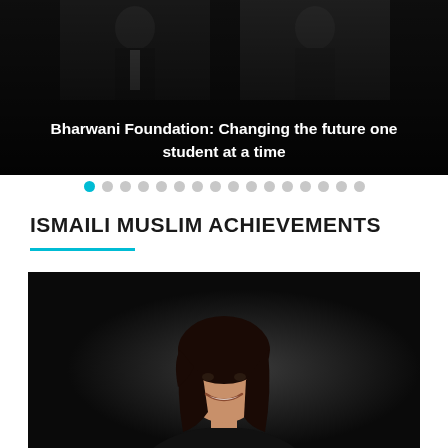[Figure (photo): Banner image showing two people in formal attire against a dark background with text overlay]
Bharwani Foundation: Changing the future one student at a time
[Figure (infographic): Carousel navigation dots, first dot highlighted in teal, 16 total dots]
ISMAILI MUSLIM ACHIEVEMENTS
[Figure (photo): Portrait photo of a South Asian woman with long dark hair, wearing a black turtleneck, smiling against a dark background]